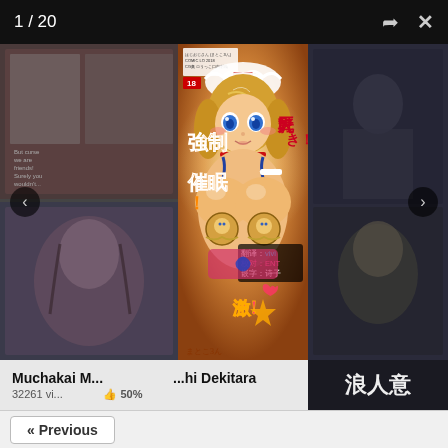1 / 20
[Figure (illustration): Manga/doujinshi cover art showing an anime-style blonde girl in a maid outfit with blue eyes, wearing a bikini top with frills, with Japanese text overlaid including kanji characters for hypnosis. Credits shown: 翻译: vivi, 校对: ENT, 嵌字: 诗子]
Muchakai M...  ...hi Dekitara
32261 vi...   👍 50%
浪人意
« Previous